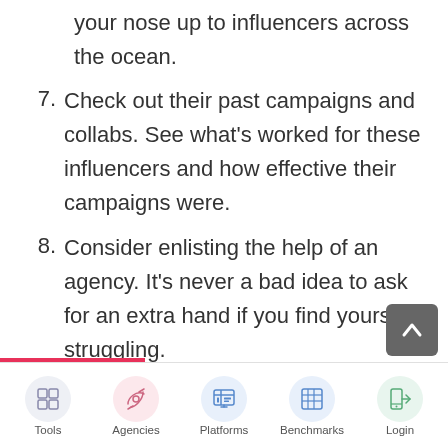your nose up to influencers across the ocean.
7. Check out their past campaigns and collabs. See what's worked for these influencers and how effective their campaigns were.
8. Consider enlisting the help of an agency. It's never a bad idea to ask for an extra hand if you find yourself struggling.
9. Use branded links to track offline influencer marketing.
10. Avoid micromanaging. Let them exercise their creative freedom.
11. Don't expect sudden results. Things take
Tools | Agencies | Platforms | Benchmarks | Login